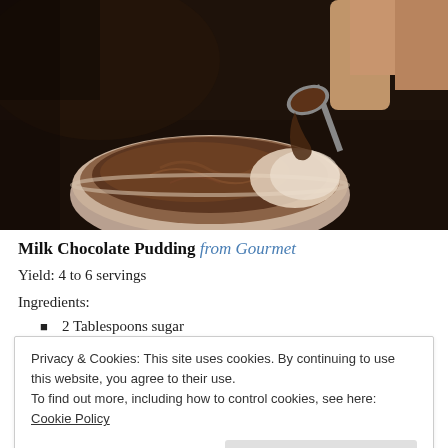[Figure (photo): A close-up photo of a bowl of chocolate pudding with a spoon lifting a scoop of the creamy chocolate mixture. Dark atmospheric background.]
Milk Chocolate Pudding from Gourmet
Yield: 4 to 6 servings
Ingredients:
2 Tablespoons sugar
Privacy & Cookies: This site uses cookies. By continuing to use this website, you agree to their use.
To find out more, including how to control cookies, see here: Cookie Policy
Close and accept